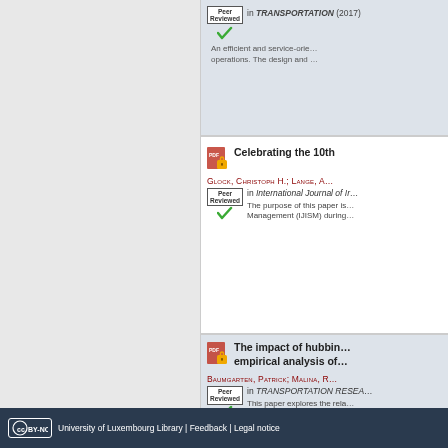Peer Reviewed — in TRANSPORTATION (2017)
An efficient and service-orien... operations. The design and ...
Celebrating the 10th
GLOCK, CHRISTOPH H.; LANGE, A...
in International Journal of Ir...
The purpose of this paper is... Management (IJISM) during...
The impact of hubbing... empirical analysis of...
BAUMGARTEN, PATRICK; MALINA, R...
in TRANSPORTATION RESEA...
This paper explores the rela... airline-specific network pers...
University of Luxembourg Library | Feedback | Legal notice